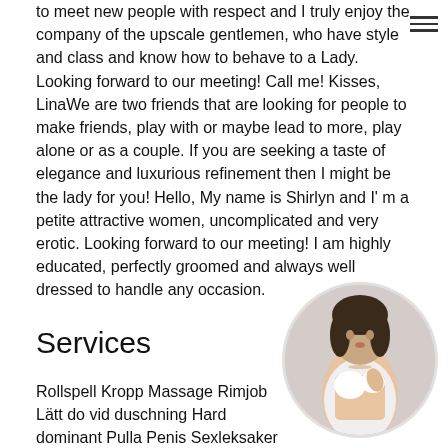to meet new people with respect and I truly enjoy the company of the upscale gentlemen, who have style and class and know how to behave to a Lady. Looking forward to our meeting! Call me! Kisses, LinaWe are two friends that are looking for people to make friends, play with or maybe lead to more, play alone or as a couple. If you are seeking a taste of elegance and luxurious refinement then I might be the lady for you! Hello, My name is Shirlyn and I' m a petite attractive women, uncomplicated and very erotic. Looking forward to our meeting! I am highly educated, perfectly groomed and always well dressed to handle any occasion.
Services
Rollspell Kropp Massage Rimjob Lätt do vid duschning Hard dominant Pulla Penis Sexleksaker Erfarenhet av flickvän (GFE) Svensexa
[Figure (photo): Circular cropped photo of a woman in a white top]